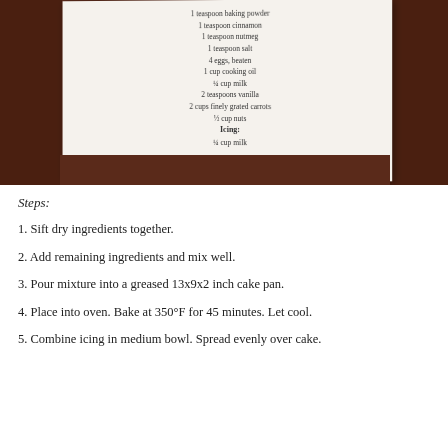[Figure (photo): A cookbook open on a wooden table, showing a recipe page with ingredients list including baking powder, cinnamon, nutmeg, salt, eggs, cooking oil, milk, vanilla, grated carrots, nuts, and icing ingredients. Page number 100 is visible.]
Steps:
1. Sift dry ingredients together.
2. Add remaining ingredients and mix well.
3. Pour mixture into a greased 13x9x2 inch cake pan.
4. Place into oven. Bake at 350°F for 45 minutes. Let cool.
5. Combine icing in medium bowl. Spread evenly over cake.